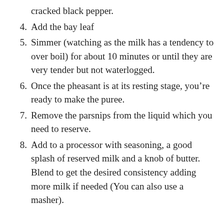cracked black pepper.
4. Add the bay leaf
5. Simmer (watching as the milk has a tendency to over boil) for about 10 minutes or until they are very tender but not waterlogged.
6. Once the pheasant is at its resting stage, you’re ready to make the puree.
7. Remove the parsnips from the liquid which you need to reserve.
8. Add to a processor with seasoning, a good splash of reserved milk and a knob of butter. Blend to get the desired consistency adding more milk if needed (You can also use a masher).